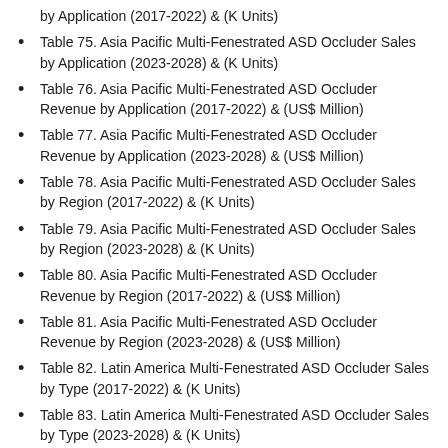by Application (2017-2022) & (K Units)
Table 75. Asia Pacific Multi-Fenestrated ASD Occluder Sales by Application (2023-2028) & (K Units)
Table 76. Asia Pacific Multi-Fenestrated ASD Occluder Revenue by Application (2017-2022) & (US$ Million)
Table 77. Asia Pacific Multi-Fenestrated ASD Occluder Revenue by Application (2023-2028) & (US$ Million)
Table 78. Asia Pacific Multi-Fenestrated ASD Occluder Sales by Region (2017-2022) & (K Units)
Table 79. Asia Pacific Multi-Fenestrated ASD Occluder Sales by Region (2023-2028) & (K Units)
Table 80. Asia Pacific Multi-Fenestrated ASD Occluder Revenue by Region (2017-2022) & (US$ Million)
Table 81. Asia Pacific Multi-Fenestrated ASD Occluder Revenue by Region (2023-2028) & (US$ Million)
Table 82. Latin America Multi-Fenestrated ASD Occluder Sales by Type (2017-2022) & (K Units)
Table 83. Latin America Multi-Fenestrated ASD Occluder Sales by Type (2023-2028) & (K Units)
Table 84. Latin America Multi-Fenestrated ASD Occluder